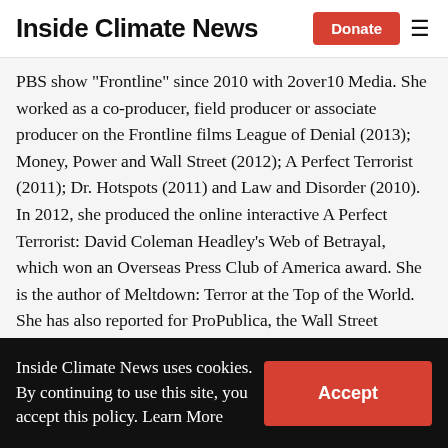Inside Climate News | Donate
PBS show "Frontline" since 2010 with 2over10 Media. She worked as a co-producer, field producer or associate producer on the Frontline films League of Denial (2013); Money, Power and Wall Street (2012); A Perfect Terrorist (2011); Dr. Hotspots (2011) and Law and Disorder (2010). In 2012, she produced the online interactive A Perfect Terrorist: David Coleman Headley's Web of Betrayal, which won an Overseas Press Club of America award. She is the author of Meltdown: Terror at the Top of the World. She has also reported for ProPublica, the Wall Street Journal and the Associated Press. Her work has been honored by the Society of
Inside Climate News uses cookies. By continuing to use this site, you accept this policy. Learn More